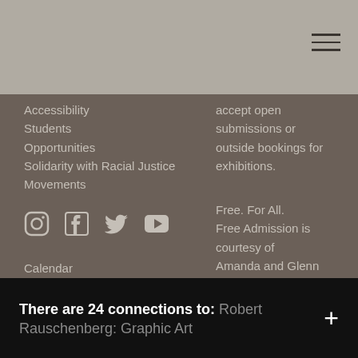Accessibility
Students
Opportunities
Solidarity with Racial Justice Movements
accept open submissions or outside bookings for exhibitions.
[Figure (infographic): Social media icons: Instagram, Facebook, Twitter, YouTube]
Free. For All.
Free Admission is courtesy of Amanda and Glenn Fuhrman.
Calendar
Mailing List
Contact
Terms of Use
Report Accessibility Issues and Get Help
© 2000–22 Institute of Contemporary Art
All Rights Reserved.
Social Media Guidelines and
There are 24 connections to:  Robert Rauschenberg: Graphic Art